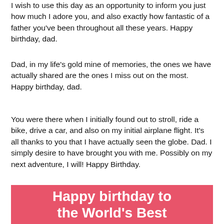I wish to use this day as an opportunity to inform you just how much I adore you, and also exactly how fantastic of a father you've been throughout all these years. Happy birthday, dad.
Dad, in my life's gold mine of memories, the ones we have actually shared are the ones I miss out on the most. Happy birthday, dad.
You were there when I initially found out to stroll, ride a bike, drive a car, and also on my initial airplane flight. It's all thanks to you that I have actually seen the globe. Dad. I simply desire to have brought you with me. Possibly on my next adventure, I will! Happy Birthday.
[Figure (illustration): Pink/red banner with white bold text reading 'Happy birthday to the World's Best']